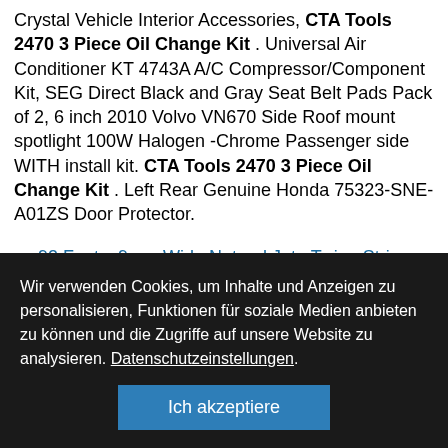Crystal Vehicle Interior Accessories, CTA Tools 2470 3 Piece Oil Change Kit . Universal Air Conditioner KT 4743A A/C Compressor/Component Kit, SEG Direct Black and Gray Seat Belt Pads Pack of 2, 6 inch 2010 Volvo VN670 Side Roof mount spotlight 100W Halogen -Chrome Passenger side WITH install kit. CTA Tools 2470 3 Piece Oil Change Kit . Left Rear Genuine Honda 75323-SNE-A01ZS Door Protector.
92 Feet x 9mm Wide Natural Jute Twine String for
Wir verwenden Cookies, um Inhalte und Anzeigen zu personalisieren, Funktionen für soziale Medien anbieten zu können und die Zugriffe auf unsere Website zu analysieren. Datenschutzeinstellungen.
Ich akzeptiere